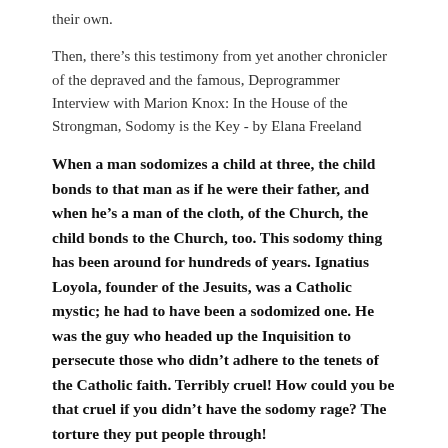their own.
Then, there’s this testimony from yet another chronicler of the depraved and the famous, Deprogrammer Interview with Marion Knox: In the House of the Strongman, Sodomy is the Key - by Elana Freeland
When a man sodomizes a child at three, the child bonds to that man as if he were their father, and when he’s a man of the cloth, of the Church, the child bonds to the Church, too. This sodomy thing has been around for hundreds of years. Ignatius Loyola, founder of the Jesuits, was a Catholic mystic; he had to have been a sodomized one. He was the guy who headed up the Inquisition to persecute those who didn’t adhere to the tenets of the Catholic faith. Terribly cruel! How could you be that cruel if you didn’t have the sodomy rage? The torture they put people through!
Knox pegged sodomy as the key element in turning